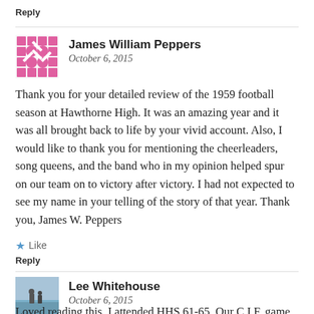Reply
James William Peppers
October 6, 2015
Thank you for your detailed review of the 1959 football season at Hawthorne High. It was an amazing year and it was all brought back to life by your vivid account. Also, I would like to thank you for mentioning the cheerleaders, song queens, and the band who in my opinion helped spur on our team on to victory after victory. I had not expected to see my name in your telling of the story of that year. Thank you, James W. Peppers
Like
Reply
Lee Whitehouse
October 6, 2015
Loved reading this. I attended HHS 61-65. Our C.I.F. game with